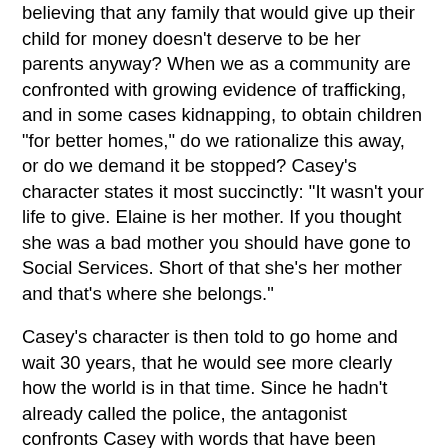believing that any family that would give up their child for money doesn't deserve to be her parents anyway? When we as a community are confronted with growing evidence of trafficking, and in some cases kidnapping, to obtain children "for better homes," do we rationalize this away, or do we demand it be stopped? Casey's character states it most succinctly: "It wasn't your life to give. Elaine is her mother. If you thought she was a bad mother you should have gone to Social Services. Short of that she's her mother and that's where she belongs."
Casey's character is then told to go home and wait 30 years, that he would see more clearly how the world is in that time. Since he hadn't already called the police, the antagonist confronts Casey with words that have been considered at one time or another by many adopting families concerning improprieties found in various international adoption programs, including China's:
"Deep inside you you know it doesn't matter what the rules say. When the lights go out and you ask yourself, 'Is she better of here or better off there?' you know the answer. And